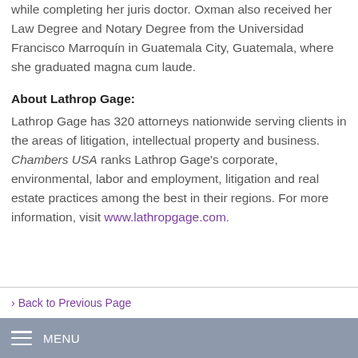while completing her juris doctor. Oxman also received her Law Degree and Notary Degree from the Universidad Francisco Marroquín in Guatemala City, Guatemala, where she graduated magna cum laude.
About Lathrop Gage:
Lathrop Gage has 320 attorneys nationwide serving clients in the areas of litigation, intellectual property and business. Chambers USA ranks Lathrop Gage's corporate, environmental, labor and employment, litigation and real estate practices among the best in their regions. For more information, visit www.lathropgage.com.
› Back to Previous Page